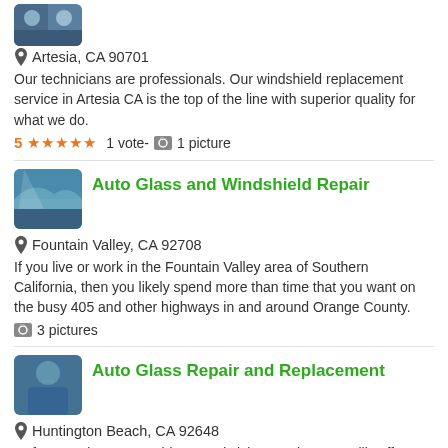[Figure (photo): Thumbnail photo of technicians at top of page (partial)]
Artesia, CA 90701
Our technicians are professionals. Our windshield replacement service in Artesia CA is the top of the line with superior quality for what we do.
5 ★★★★★  1 vote-  1 picture
[Figure (photo): Thumbnail photo showing cracked windshield for Auto Glass and Windshield Repair listing]
Auto Glass and Windshield Repair
Fountain Valley, CA 92708
If you live or work in the Fountain Valley area of Southern California, then you likely spend more than time that you want on the busy 405 and other highways in and around Orange County.
3 pictures
[Figure (photo): Thumbnail photo of person for Auto Glass Repair and Replacement listing]
Auto Glass Repair and Replacement
Huntington Beach, CA 92648
Unfortunately, many residents and visitors to the area will suffer damage to the windshield or auto glass of their vehicle at some point while working or residing in the area.
4 pictures